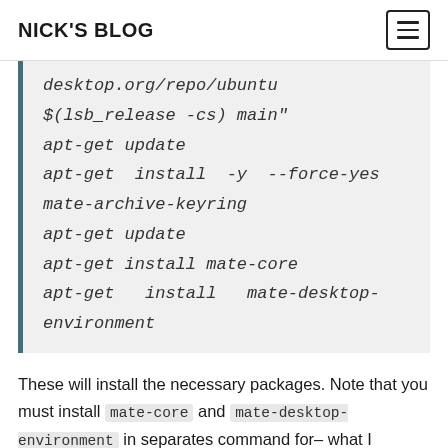NICK'S BLOG
desktop.org/repo/ubuntu
$(lsb_release -cs) main"
apt-get update
apt-get install -y --force-yes
mate-archive-keyring
apt-get update
apt-get install mate-core
apt-get install mate-desktop-environment
These will install the necessary packages. Note that you must install mate-core and mate-desktop-environment in separates command for- what I